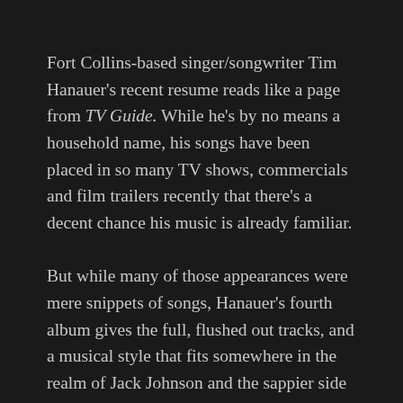Fort Collins-based singer/songwriter Tim Hanauer's recent resume reads like a page from TV Guide. While he's by no means a household name, his songs have been placed in so many TV shows, commercials and film trailers recently that there's a decent chance his music is already familiar.
But while many of those appearances were mere snippets of songs, Hanauer's fourth album gives the full, flushed out tracks, and a musical style that fits somewhere in the realm of Jack Johnson and the sappier side of John Mayer. The songs are definitely